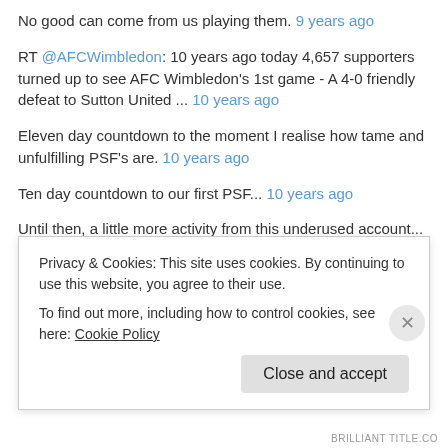No good can come from us playing them. 9 years ago
RT @AFCWimbledon: 10 years ago today 4,657 supporters turned up to see AFC Wimbledon's 1st game - A 4-0 friendly defeat to Sutton United ... 10 years ago
Eleven day countdown to the moment I realise how tame and unfulfilling PSF's are. 10 years ago
Ten day countdown to our first PSF... 10 years ago
Until then, a little more activity from this underused account... 10 years ago
Will get around to a reboot in time for the new season, when I get back
Privacy & Cookies: This site uses cookies. By continuing to use this website, you agree to their use.
To find out more, including how to control cookies, see here: Cookie Policy
Close and accept
BRILLIANT TITLE.CO